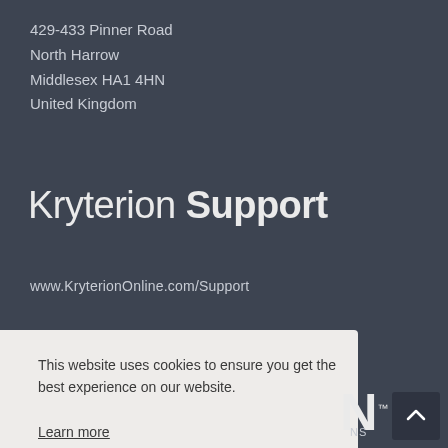429-433 Pinner Road
North Harrow
Middlesex HA1 4HN
United Kingdom
Kryterion Support
www.KryterionOnline.com/Support
This website uses cookies to ensure you get the best experience on our website.
Learn more
Decline
Dismiss
Cookie Preferences